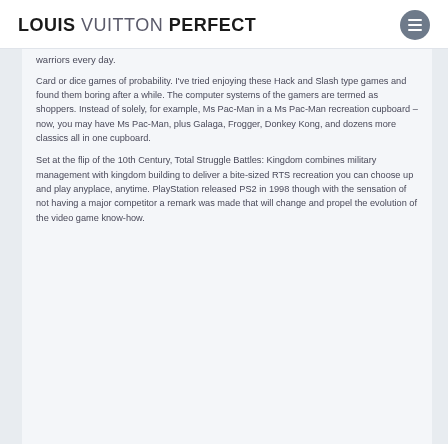LOUIS VUITTON PERFECT
warriors every day.
Card or dice games of probability. I've tried enjoying these Hack and Slash type games and found them boring after a while. The computer systems of the gamers are termed as shoppers. Instead of solely, for example, Ms Pac-Man in a Ms Pac-Man recreation cupboard – now, you may have Ms Pac-Man, plus Galaga, Frogger, Donkey Kong, and dozens more classics all in one cupboard.
Set at the flip of the 10th Century, Total Struggle Battles: Kingdom combines military management with kingdom building to deliver a bite-sized RTS recreation you can choose up and play anyplace, anytime. PlayStation released PS2 in 1998 though with the sensation of not having a major competitor a remark was made that will change and propel the evolution of the video game know-how.